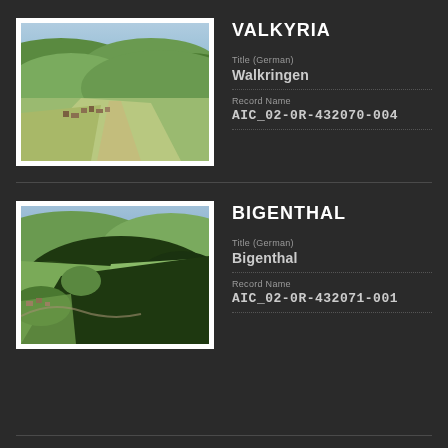VALKYRIA
[Figure (photo): Aerial photograph of Walkringen village, showing green rolling hills, farmland, and buildings from above]
Title (German)
Walkringen
Record Name
AIC_02-0R-432070-004
BIGENTHAL
[Figure (photo): Aerial photograph of Bigenthal, showing green hills with dense dark forest and village]
Title (German)
Bigenthal
Record Name
AIC_02-0R-432071-001